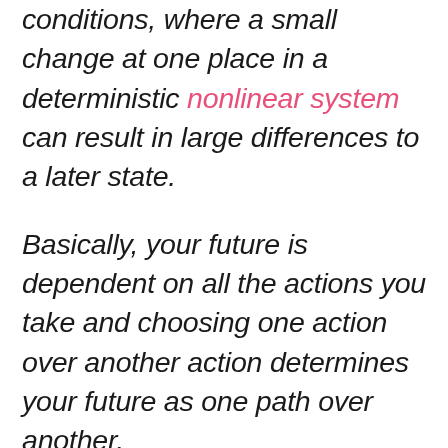conditions, where a small change at one place in a deterministic nonlinear system can result in large differences to a later state.
Basically, your future is dependent on all the actions you take and choosing one action over another action determines your future as one path over another.
-I know, I know, in my last blog post I wrote about how my decisions would impact my future and how scary that was- and still is. Over the